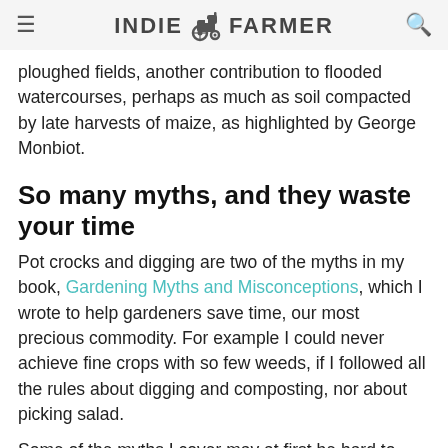INDIE FARMER
ploughed fields, another contribution to flooded watercourses, perhaps as much as soil compacted by late harvests of maize, as highlighted by George Monbiot.
So many myths, and they waste your time
Pot crocks and digging are two of the myths in my book, Gardening Myths and Misconceptions, which I wrote to help gardeners save time, our most precious commodity. For example I could never achieve fine crops with so few weeds, if I followed all the rules about digging and composting, nor about picking salad.
Some of the myths I cover may at first be hard to